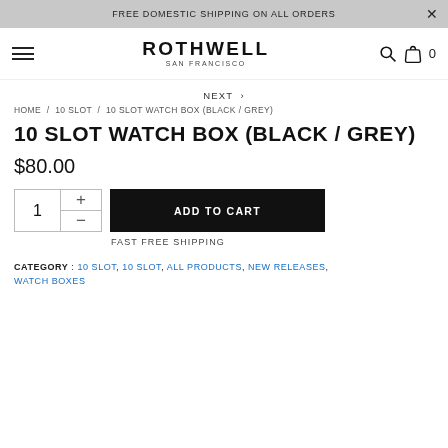FREE DOMESTIC SHIPPING ON ALL ORDERS
[Figure (logo): Rothwell San Francisco brand logo with hamburger menu, search icon, and cart icon]
NEXT >
HOME / 10 SLOT / 10 SLOT WATCH BOX (BLACK / GREY)
10 SLOT WATCH BOX (BLACK / GREY)
$80.00
1  +  −  ADD TO CART
FAST FREE SHIPPING
CATEGORY : 10 SLOT, 10 SLOT, ALL PRODUCTS, NEW RELEASES, WATCH BOXES